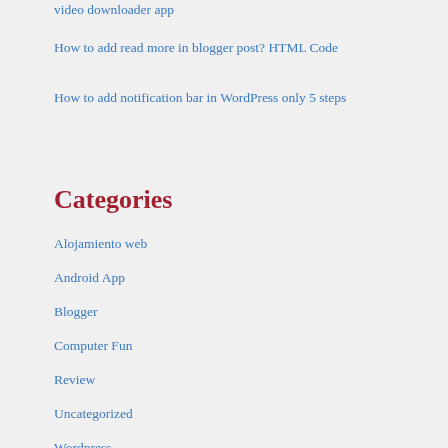video downloader app
How to add read more in blogger post? HTML Code
How to add notification bar in WordPress only 5 steps
Categories
Alojamiento web
Android App
Blogger
Computer Fun
Review
Uncategorized
Wordpress